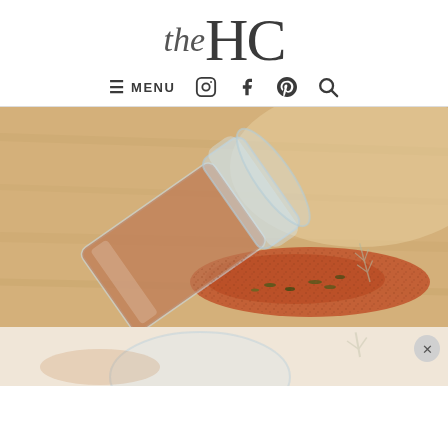the HC
≡ MENU  [instagram] [facebook] [pinterest] [search]
[Figure (photo): A glass spice jar tipped on its side on a wooden cutting board, spilling a reddish-brown spice blend (Cajun or Creole seasoning with visible herbs) onto the board surface. Close-up food photography.]
[Figure (photo): Partial view of a second photo below — light beige background with what appears to be another spice or food item, partially cut off. Close button (×) visible in lower right corner.]